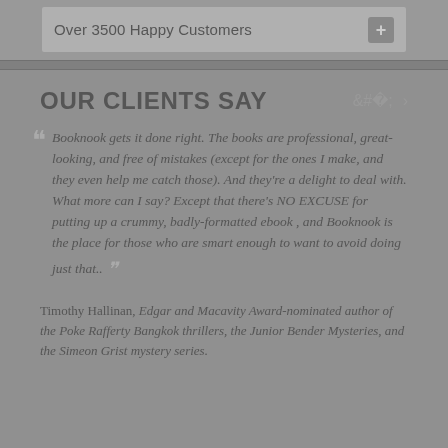Over 3500 Happy Customers
OUR CLIENTS SAY
Booknook gets it done right. The books are professional, great-looking, and free of mistakes (except for the ones I make, and they even help me catch those). And they’re a delight to deal with. What more can I say? Except that there’s NO EXCUSE for putting up a crummy, badly-formatted ebook , and Booknook is the place for those who are smart enough to want to avoid doing just that..
Timothy Hallinan, Edgar and Macavity Award-nominated author of the Poke Rafferty Bangkok thrillers, the Junior Bender Mysteries, and the Simeon Grist mystery series.